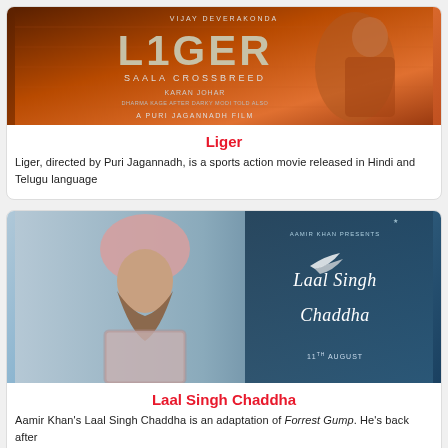[Figure (photo): Liger movie poster showing the title 'LIGER SAALA CROSSBREED' with a muscular figure, directed by Puri Jagannadh, produced by Karan Johar]
Liger
Liger, directed by Puri Jagannadh, is a sports action movie released in Hindi and Telugu language
[Figure (photo): Laal Singh Chaddha movie poster showing Aamir Khan in a Sikh appearance with turban and beard, with the film title in cursive script and release date 11th August]
Laal Singh Chaddha
Aamir Khan's Laal Singh Chaddha is an adaptation of Forrest Gump. He's back after